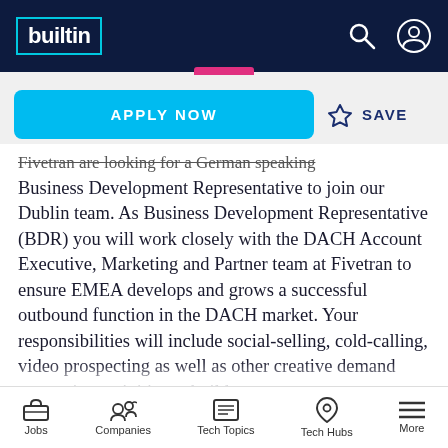builtin
APPLY NOW  ☆ SAVE
Fivetran are looking for a German speaking Business Development Representative to join our Dublin team. As Business Development Representative (BDR) you will work closely with the DACH Account Executive, Marketing and Partner team at Fivetran to ensure EMEA develops and grows a successful outbound function in the DACH market. Your responsibilities will include social-selling, cold-calling, video prospecting as well as other creative demand generation activities to build a strong pipeline in our market.
Jobs  Companies  Tech Topics  Tech Hubs  More